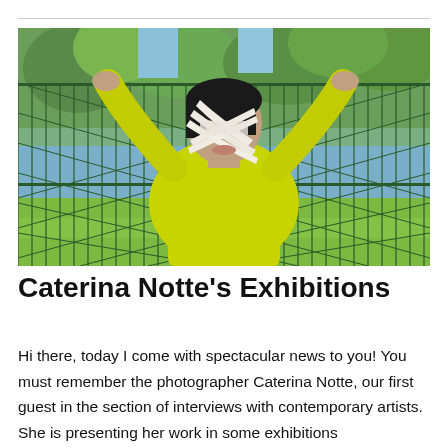[Figure (photo): A person in a yellow long-sleeve shirt standing against a chain-link fence, arms raised, with white cloth/bandage wrapped around their face covering their eyes and nose. Green trees and grass visible in background.]
Caterina Notte's Exhibitions
Hi there, today I come with spectacular news to you! You must remember the photographer Caterina Notte, our first guest in the section of interviews with contemporary artists. She is presenting her work in some exhibitions